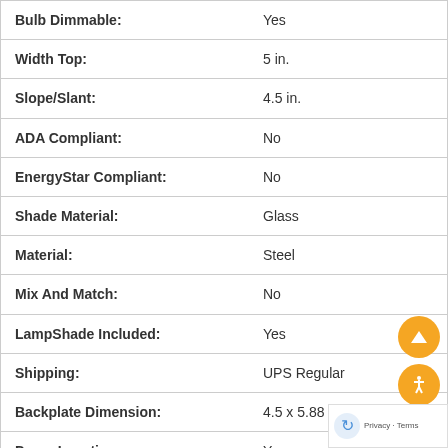| Attribute | Value |
| --- | --- |
| Bulb Dimmable: | Yes |
| Width Top: | 5 in. |
| Slope/Slant: | 4.5 in. |
| ADA Compliant: | No |
| EnergyStar Compliant: | No |
| Shade Material: | Glass |
| Material: | Steel |
| Mix And Match: | No |
| LampShade Included: | Yes |
| Shipping: | UPS Regular |
| Backplate Dimension: | 4.5 x 5.88 |
| Damp Location: | Yes |